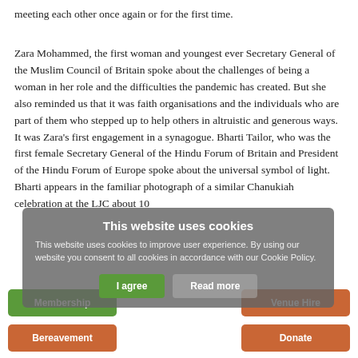meeting each other once again or for the first time.
Zara Mohammed, the first woman and youngest ever Secretary General of the Muslim Council of Britain spoke about the challenges of being a woman in her role and the difficulties the pandemic has created. But she also reminded us that it was faith organisations and the individuals who are part of them who stepped up to help others in altruistic and generous ways.  It was Zara's first engagement in a synagogue. Bharti Tailor, who was the first female Secretary General of the Hindu Forum of Britain and President of the Hindu Forum of Europe spoke about the universal symbol of light. Bharti appears in the familiar photograph of a similar Chanukiah celebration at the LJC about 10
This website uses cookies
This website uses cookies to improve user experience. By using our website you consent to all cookies in accordance with our Cookie Policy.
I agree
Read more
Membership
Venue Hire
Bereavement
Donate